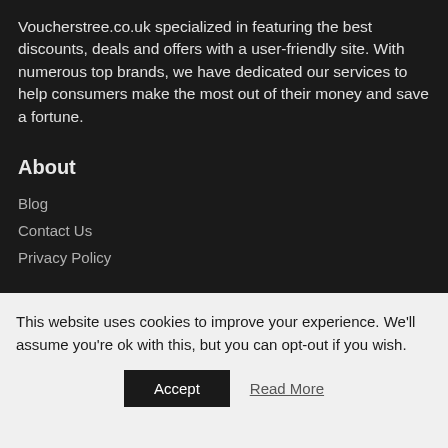Voucherstree.co.uk specialized in featuring the best discounts, deals and offers with a user-friendly site. With numerous top brands, we have dedicated our services to help consumers make the most out of their money and save a fortune.
About
Blog
Contact Us
Privacy Policy
Resources
This website uses cookies to improve your experience. We'll assume you're ok with this, but you can opt-out if you wish.